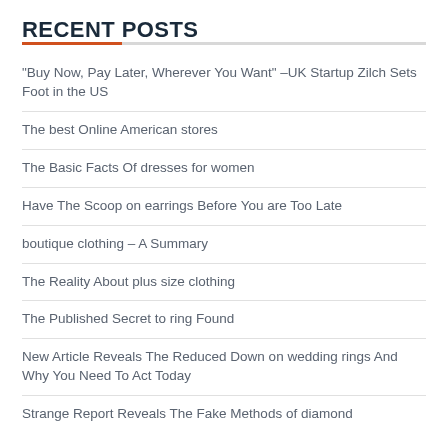RECENT POSTS
“Buy Now, Pay Later, Wherever You Want” –UK Startup Zilch Sets Foot in the US
The best Online American stores
The Basic Facts Of dresses for women
Have The Scoop on earrings Before You are Too Late
boutique clothing – A Summary
The Reality About plus size clothing
The Published Secret to ring Found
New Article Reveals The Reduced Down on wedding rings And Why You Need To Act Today
Strange Report Reveals The Fake Methods of diamond